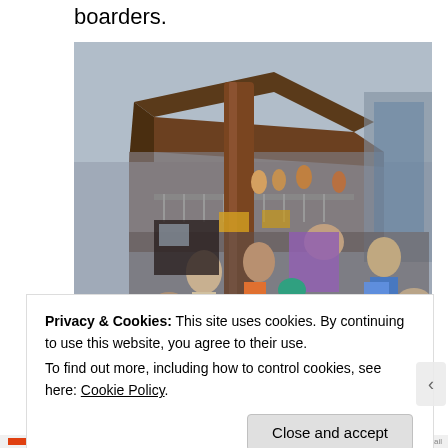boarders.
[Figure (photo): Crowd of people with backpacks gathered in front of a large wooden lodge-style building with tall brown columns and a second-floor balcony. People are visible on the balcony and ground level.]
Privacy & Cookies: This site uses cookies. By continuing to use this website, you agree to their use.
To find out more, including how to control cookies, see here: Cookie Policy
Close and accept